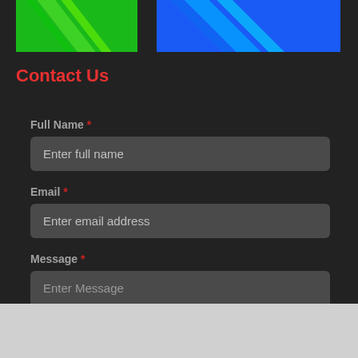[Figure (illustration): Two decorative banner images side by side: left is green with diagonal stripe pattern, right is blue/cyan with diagonal stripe pattern]
Contact Us
Full Name *
Enter full name
Email *
Enter email address
Message *
Enter Message